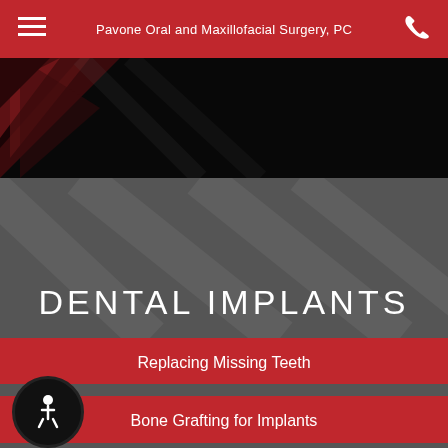Pavone Oral and Maxillofacial Surgery, PC
[Figure (photo): Dark hero image with red and black geometric pattern/triangles on the left side against a black background]
DENTAL IMPLANTS
Replacing Missing Teeth
Single Tooth Implant
Full Mouth Dental Implants
Bone Grafting for Implants
Implant Dentures